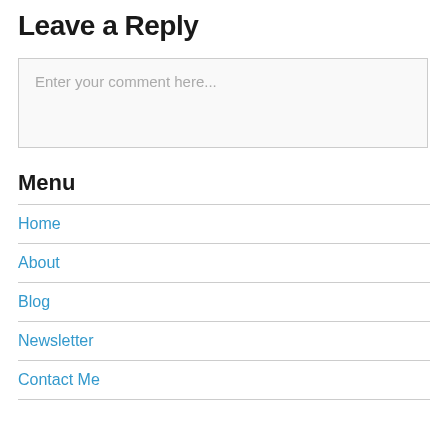Leave a Reply
Enter your comment here...
Menu
Home
About
Blog
Newsletter
Contact Me